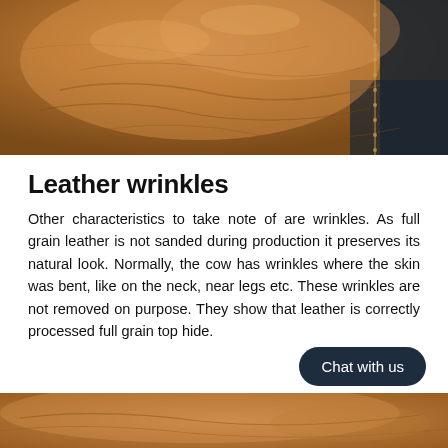[Figure (photo): Close-up photograph of brown full grain leather surface showing natural wrinkles and texture, with a dark background on the right edge.]
Leather wrinkles
Other characteristics to take note of are wrinkles. As full grain leather is not sanded during production it preserves its natural look. Normally, the cow has wrinkles where the skin was bent, like on the neck, near legs etc. These wrinkles are not removed on purpose. They show that leather is correctly processed full grain top hide.
[Figure (photo): Close-up photograph of brown full grain leather surface showing natural texture and grain at the bottom of the page.]